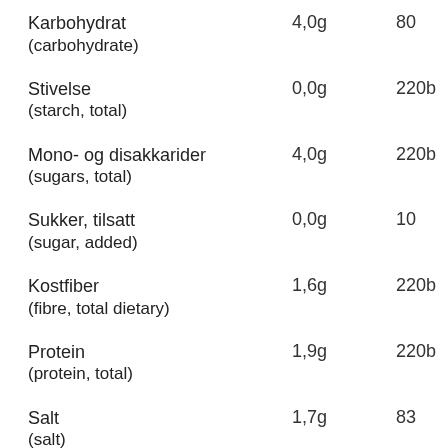| Name | Amount | Code |
| --- | --- | --- |
| Karbohydrat (carbohydrate) | 4,0g | 80 |
| Stivelse (starch, total) | 0,0g | 220b |
| Mono- og disakkarider (sugars, total) | 4,0g | 220b |
| Sukker, tilsatt (sugar, added) | 0,0g | 10 |
| Kostfiber (fibre, total dietary) | 1,6g | 220b |
| Protein (protein, total) | 1,9g | 220b |
| Salt (salt) | 1,7g | 83 |
| Alkohol (alcohol) | 0,0g | 50 |
| Vitamin A | 44RAE | 85 |